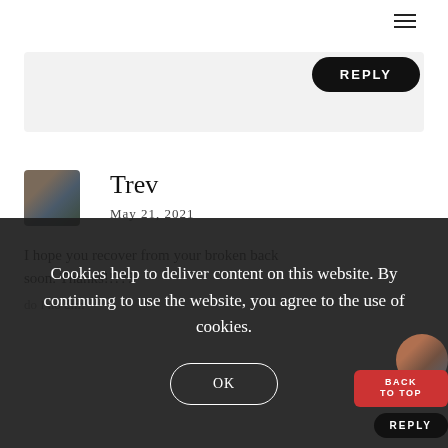[Figure (screenshot): Hamburger menu icon in top right corner]
[Figure (screenshot): REPLY button with dark rounded background, top right area]
[Figure (photo): User avatar photo of a person wearing winter clothing and glasses]
Trev
May 21, 2021
I hope you recover from your broken back soon. Thanks!!???
do I no dim
Cookies help to deliver content on this website. By continuing to use the website, you agree to the use of cookies.
OK
[Figure (screenshot): BACK TO TOP button in red, and REPLY button partially visible at bottom right]